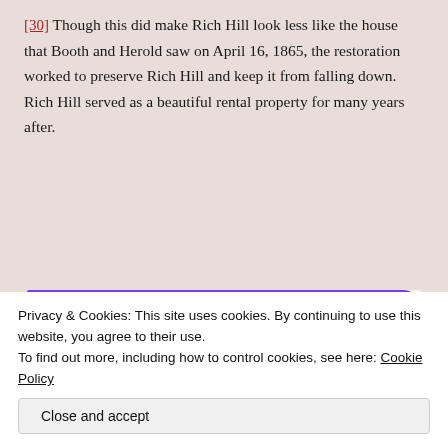[30]  Though this did make Rich Hill look less like the house that Booth and Herold saw on April 16, 1865, the restoration worked to preserve Rich Hill and keep it from falling down.  Rich Hill served as a beautiful rental property for many years after.
[Figure (screenshot): WooCommerce advertisement banner showing the WooCommerce logo, geometric shapes (green triangle, blue arc), and text 'How to start selling subscriptions online' with a purple 'Start a new store' button.]
Privacy & Cookies: This site uses cookies. By continuing to use this website, you agree to their use.
To find out more, including how to control cookies, see here: Cookie Policy
Close and accept